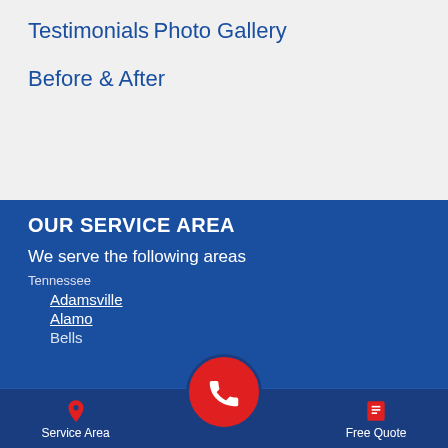Testimonials
Photo Gallery
Before & After
OUR SERVICE AREA
We serve the following areas
Tennessee
Adamsville
Alamo
Bells
Service Area    Free Quote